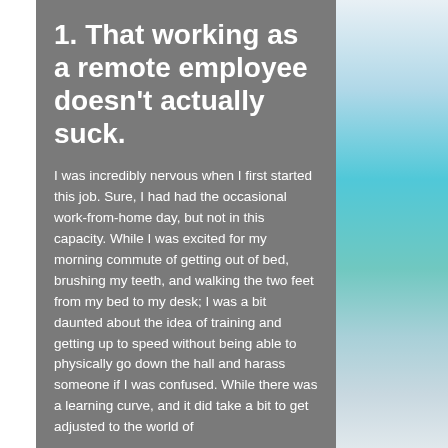1. That working as a remote employee doesn't actually suck.
I was incredibly nervous when I first started this job. Sure, I had had the occasional work-from-home day, but not in this capacity. While I was excited for my morning commute of getting out of bed, brushing my teeth, and walking the two feet from my bed to my desk; I was a bit daunted about the idea of training and getting up to speed without being able to physically go down the hall and harass someone if I was confused. While there was a learning curve, and it did take a bit to get adjusted to the world of